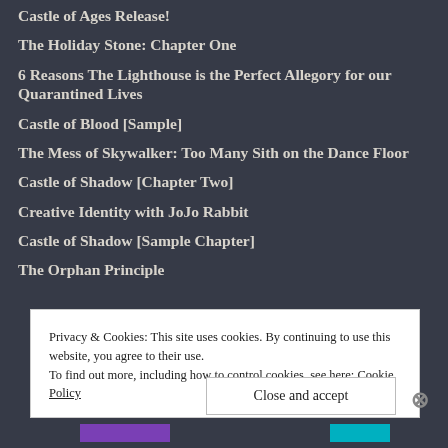Castle of Ages Release!
The Holiday Stone: Chapter One
6 Reasons The Lighthouse is the Perfect Allegory for our Quarantined Lives
Castle of Blood [Sample]
The Mess of Skywalker: Too Many Sith on the Dance Floor
Castle of Shadow [Chapter Two]
Creative Identity with JoJo Rabbit
Castle of Shadow [Sample Chapter]
The Orphan Principle
Privacy & Cookies: This site uses cookies. By continuing to use this website, you agree to their use.
To find out more, including how to control cookies, see here: Cookie Policy
Close and accept